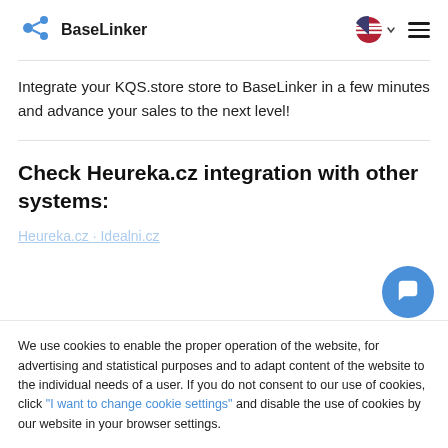BaseLinker
Integrate your KQS.store store to BaseLinker in a few minutes and advance your sales to the next level!
Check Heureka.cz integration with other systems:
We use cookies to enable the proper operation of the website, for advertising and statistical purposes and to adapt content of the website to the individual needs of a user. If you do not consent to our use of cookies, click "I want to change cookie settings" and disable the use of cookies by our website in your browser settings.